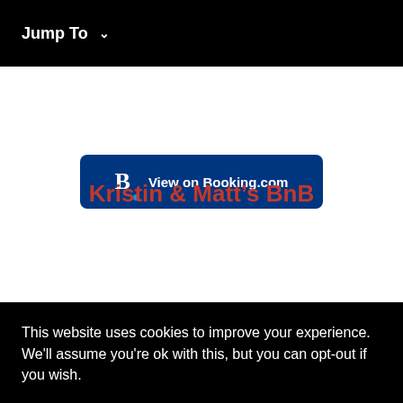Jump To ∨
[Figure (screenshot): Booking.com button - dark blue rounded rectangle with Booking.com logo (B. with blue dot) and text 'View on Booking.com' in white]
Kristin & Matt's BnB
This website uses cookies to improve your experience. We'll assume you're ok with this, but you can opt-out if you wish.